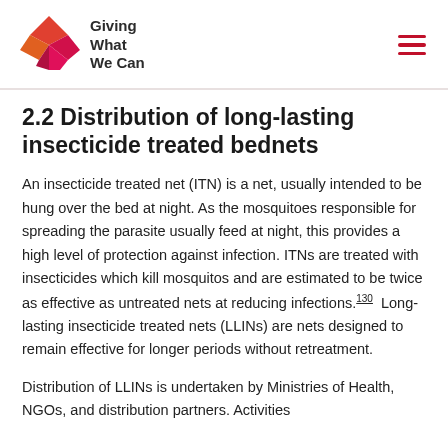Giving What We Can
2.2 Distribution of long-lasting insecticide treated bednets
An insecticide treated net (ITN) is a net, usually intended to be hung over the bed at night. As the mosquitoes responsible for spreading the parasite usually feed at night, this provides a high level of protection against infection. ITNs are treated with insecticides which kill mosquitos and are estimated to be twice as effective as untreated nets at reducing infections.130 Long-lasting insecticide treated nets (LLINs) are nets designed to remain effective for longer periods without retreatment.
Distribution of LLINs is undertaken by Ministries of Health, NGOs, and distribution partners. Activities